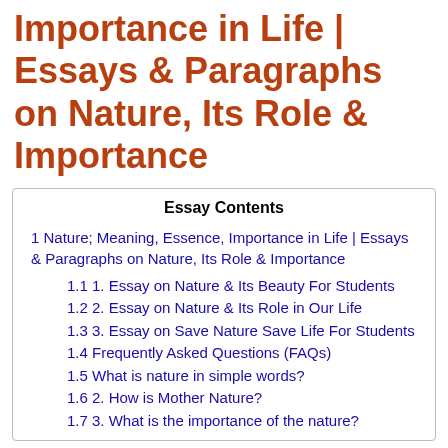Importance in Life | Essays & Paragraphs on Nature, Its Role & Importance
| Essay Contents |
| --- |
| 1 Nature; Meaning, Essence, Importance in Life | Essays & Paragraphs on Nature, Its Role & Importance |
| 1.1 1. Essay on Nature & Its Beauty For Students |
| 1.2 2. Essay on Nature & Its Role in Our Life |
| 1.3 3. Essay on Save Nature Save Life For Students |
| 1.4 Frequently Asked Questions (FAQs) |
| 1.5 What is nature in simple words? |
| 1.6 2. How is Mother Nature? |
| 1.7 3. What is the importance of the nature? |